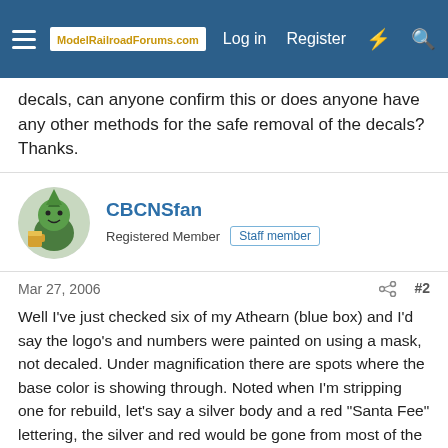ModelRailroadForums.com | Log in | Register
decals, can anyone confirm this or does anyone have any other methods for the safe removal of the decals? Thanks.
CBCNSfan
Registered Member  Staff member
Mar 27, 2006  #2
Well I've just checked six of my Athearn (blue box) and I'd say the logo's and numbers were painted on using a mask, not decaled. Under magnification there are spots where the base color is showing through. Noted when I'm stripping one for rebuild, let's say a silver body and a red "Santa Fee" lettering, the silver and red would be gone from most of the body leaving the Santa Fee lettering in silver, which then required another application of fluid to remove it.
My guess if it's just a number you want to change then one of those gray colored erasers might work. I just strip the paint from the whole loco but there are models that are too fancy to do that...